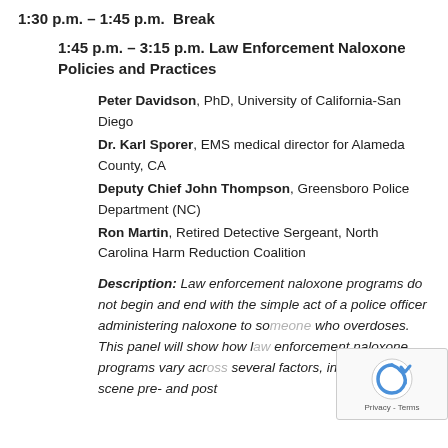1:30 p.m. – 1:45 p.m.  Break
1:45 p.m. – 3:15 p.m. Law Enforcement Naloxone Policies and Practices
Peter Davidson, PhD, University of California-San Diego
Dr. Karl Sporer, EMS medical director for Alameda County, CA
Deputy Chief John Thompson, Greensboro Police Department (NC)
Ron Martin, Retired Detective Sergeant, North Carolina Harm Reduction Coalition
Description: Law enforcement naloxone programs do not begin and end with the simple act of a police officer administering naloxone to someone who overdoses. This panel will show how law enforcement naloxone programs vary across several factors, including on scene pre- and post-